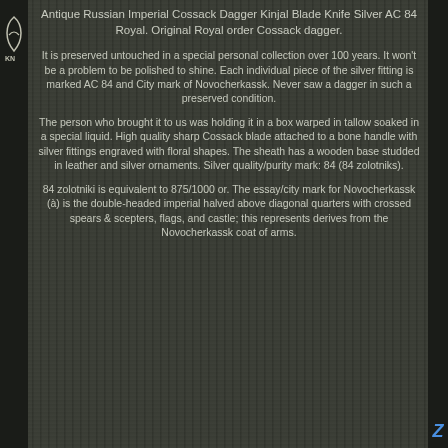Antique Russian Imperial Cossack Dagger Kinjal Blade Knife Silver AC 84 Royal. Original Royal order Cossack dagger.
It is preserved untouched in a special personal collection over 100 years. It won't be a problem to be polished to shine. Each individual piece of the silver fitting is marked AC 84 and City mark of Novocherkassk. Never saw a dagger in such a preserved condition.
The person who brought it to us was holding it in a box warped in tallow soaked in a special liquid. High quality sharp Cossack blade attached to a bone handle with silver fittings engraved with floral shapes. The sheath has a wooden base studded in leather and silver ornaments. Silver quality/purity mark: 84 (84 zolotniks).
84 zolotniki is equivalent to 875/1000 or. The essay/city mark for Novocherkassk (à) is the double-headed imperial halved above diagonal quarters with crossed spears & scepters, flags, and castle; this represents derives from the Novocherkassk coat of arms.